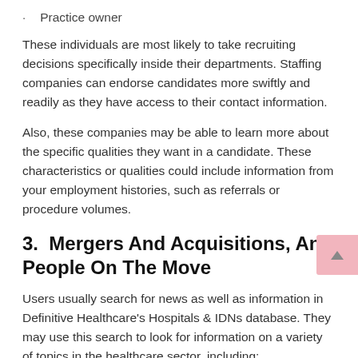Practice owner
These individuals are most likely to take recruiting decisions specifically inside their departments. Staffing companies can endorse candidates more swiftly and readily as they have access to their contact information.
Also, these companies may be able to learn more about the specific qualities they want in a candidate. These characteristics or qualities could include information from your employment histories, such as referrals or procedure volumes.
3.  Mergers And Acquisitions, And People On The Move
Users usually search for news as well as information in Definitive Healthcare's Hospitals & IDNs database. They may use this search to look for information on a variety of topics in the healthcare sector, including:
Partnerships with hospitals...